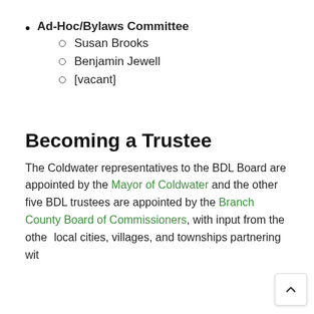Ad-Hoc/Bylaws Committee
Susan Brooks
Benjamin Jewell
[vacant]
Becoming a Trustee
The Coldwater representatives to the BDL Board are appointed by the Mayor of Coldwater and the other five BDL trustees are appointed by the Branch County Board of Commissioners, with input from the other local cities, villages, and townships partnering with the library.